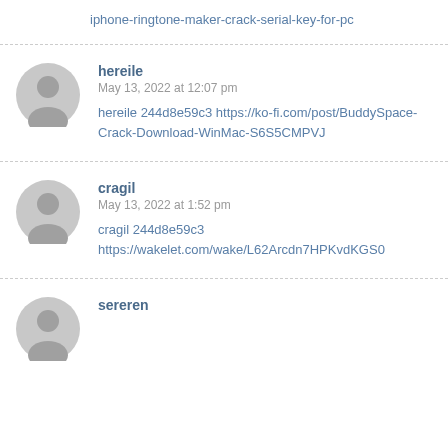iphone-ringtone-maker-crack-serial-key-for-pc
hereile
May 13, 2022 at 12:07 pm
hereile 244d8e59c3 https://ko-fi.com/post/BuddySpace-Crack-Download-WinMac-S6S5CMPVJ
cragil
May 13, 2022 at 1:52 pm
cragil 244d8e59c3
https://wakelet.com/wake/L62Arcdn7HPKvdKGS0
sereren